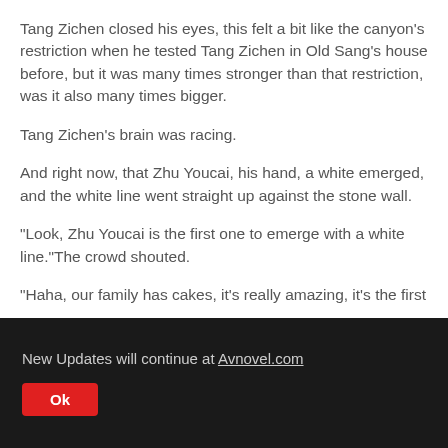Tang Zichen closed his eyes, this felt a bit like the canyon's restriction when he tested Tang Zichen in Old Sang's house before, but it was many times stronger than that restriction, was it also many times bigger.
Tang Zichen's brain was racing.
And right now, that Zhu Youcai, his hand, a white emerged, and the white line went straight up against the stone wall.
"Look, Zhu Youcai is the first one to emerge with a white line."The crowd shouted.
"Haha, our family has cakes, it's really amazing, it's the first
New Updates will continue at Avnovel.com